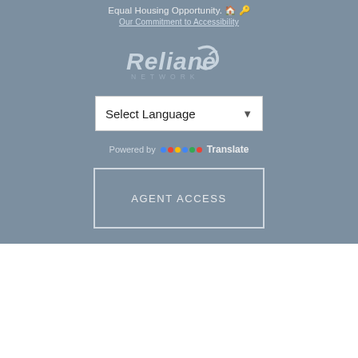Equal Housing Opportunity.
Our Commitment to Accessibility
[Figure (logo): Reliance Network logo in light gray/white text]
Select Language
Powered by Google Translate
AGENT ACCESS